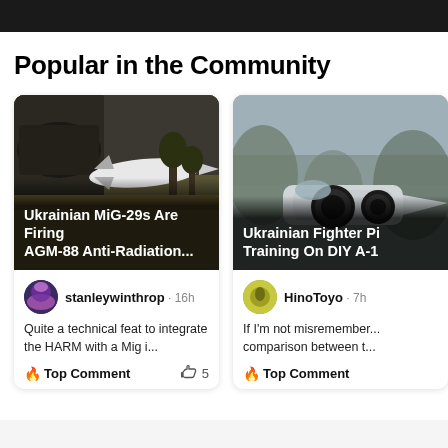Popular in the Community
[Figure (photo): Ukrainian MiG-29 aircraft with AGM-88 Anti-Radiation missile mounted underneath, outdoors background]
Ukrainian MiG-29s Are Firing AGM-88 Anti-Radiation...
stanleywinthrop · 16h
Quite a technical feat to integrate the HARM with a Mig i...
🔥 Top Comment   👍 5
[Figure (photo): Ukrainian fighter jet with visible engine intakes and fuselage, cloudy sky background]
Ukrainian Fighter Pi... Training On DIY A-1
HinoToyo · 7h
If I'm not misremember... comparison between t...
🔥 Top Comment